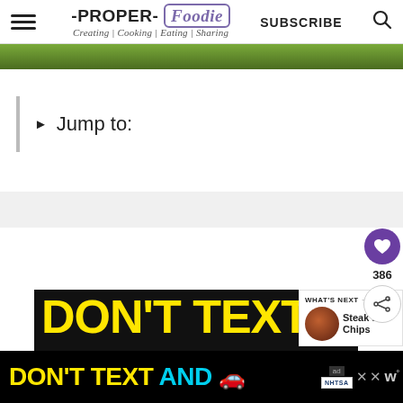-PROPER- Foodie | Creating | Cooking | Eating | Sharing | SUBSCRIBE
[Figure (photo): Partial view of a food photo strip (green/nature tones) at the top of the page]
► Jump to:
[Figure (screenshot): Heart/like button (purple circle with white heart icon) with count 386, and a share button below]
[Figure (screenshot): Advertisement: DON'T TEXT (yellow text on black) - DON'T TEXT AND with car emoji, NHTSA ad. Close buttons and ad badges visible.]
[Figure (screenshot): WHAT'S NEXT panel showing Steak and Chips with thumbnail image]